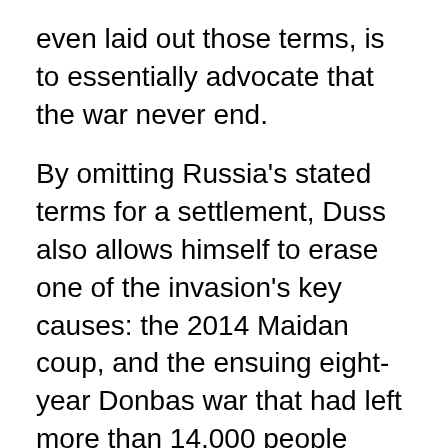even laid out those terms, is to essentially advocate that the war never end.
By omitting Russia's stated terms for a settlement, Duss also allows himself to erase one of the invasion's key causes: the 2014 Maidan coup, and the ensuing eight-year Donbas war that had left more than 14,000 people dead by the time Russian forces crossed the border on February 24th.
In his 2500+ word piece, Duss makes no mention of the Donbas war and how it began: the 2014 ouster of a democratically elected Ukrainian president, with new leadership selected by Washington; the coup government's assault on Ukraine's ethnic Russian and anti-coup citizens, who launched a rebellion in the Donbas; the critical role of fascists and neo-Nazis in the